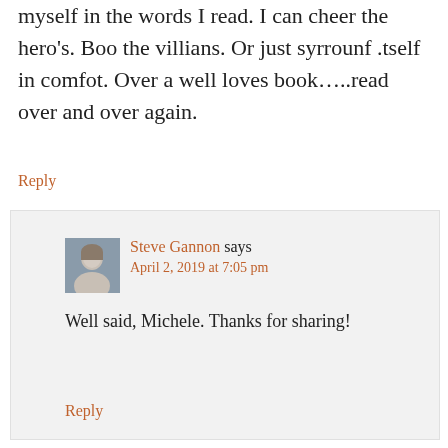myself in the words I read. I can cheer the hero's. Boo the villians. Or just syrrounf .tself in comfot. Over a well loves book…..read over and over again.
Reply
Steve Gannon says
April 2, 2019 at 7:05 pm
Well said, Michele. Thanks for sharing!
Reply